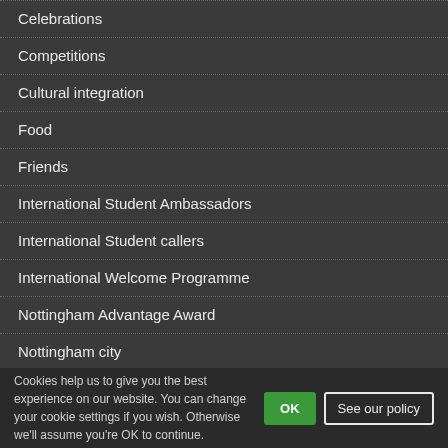Celebrations
Competitions
Cultural integration
Food
Friends
International Student Ambassadors
International Student callers
International Welcome Programme
Nottingham Advantage Award
Nottingham city
Scholarships
Services
Societies
Sports
Study abroad
Travel
Cookies help us to give you the best experience on our website. You can change your cookie settings if you wish. Otherwise we'll assume you're OK to continue.